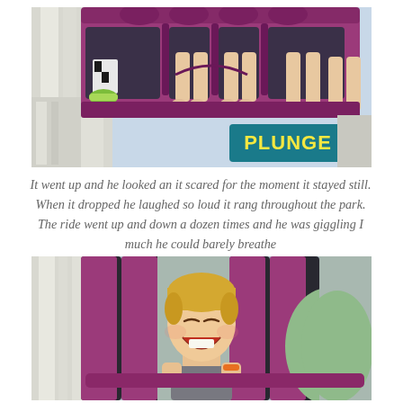[Figure (photo): Children sitting on a purple amusement ride called PLUNGE, viewed from below with dangling bare feet and sneakers visible against a bright sky. A teal sign reads PLUNGE.]
It went up and he looked an it scared for the moment it stayed still. When it dropped he laughed so loud it rang throughout the park. The ride went up and down a dozen times and he was giggling I much he could barely breathe
[Figure (photo): A young blond boy laughing joyfully while seated in a purple and black amusement ride, holding the restraint bar with both hands.]